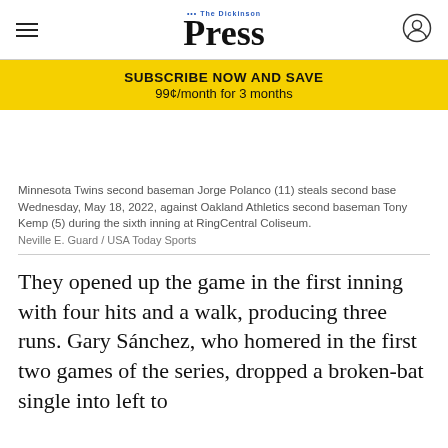The Dickinson Press
SUBSCRIBE NOW AND SAVE
99¢/month for 3 months
Minnesota Twins second baseman Jorge Polanco (11) steals second base Wednesday, May 18, 2022, against Oakland Athletics second baseman Tony Kemp (5) during the sixth inning at RingCentral Coliseum.
Neville E. Guard / USA Today Sports
They opened up the game in the first inning with four hits and a walk, producing three runs. Gary Sánchez, who homered in the first two games of the series, dropped a broken-bat single into left to